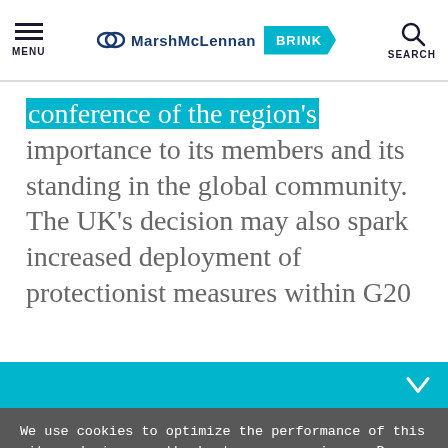MENU | MarshMcLennan BRINK | SEARCH
conference of the region's importance to its members and its standing in the global community. The UK's decision may also spark increased deployment of protectionist measures within G20
We use cookies to optimize the performance of this site and give you the best user experience. By using the site, you accept our use of cookies.
Okay
Manage Cookies